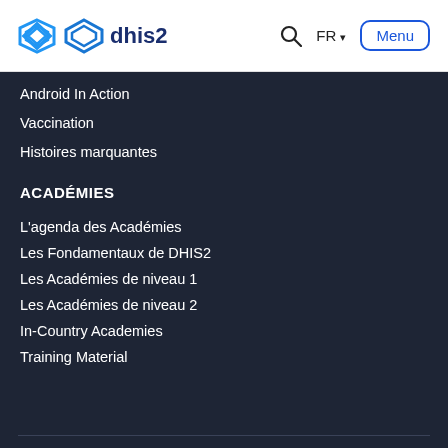[Figure (logo): DHIS2 logo with blue diamond icon and text 'dhis2']
Android In Action
Vaccination
Histoires marquantes
ACADÉMIES
L'agenda des Académies
Les Fondamentaux de DHIS2
Les Académies de niveau 1
Les Académies de niveau 2
In-Country Academies
Training Material